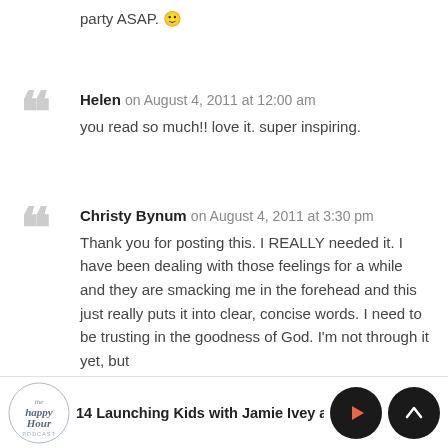party ASAP. 🙂
Helen on August 4, 2011 at 12:00 am
you read so much!! love it. super inspiring.
Christy Bynum on August 4, 2011 at 3:30 pm
Thank you for posting this. I REALLY needed it. I have been dealing with those feelings for a while and they are smacking me in the forehead and this just really puts it into clear, concise words. I need to be trusting in the goodness of God. I'm not through it yet, but
14 Launching Kids with Jamie Ivey a